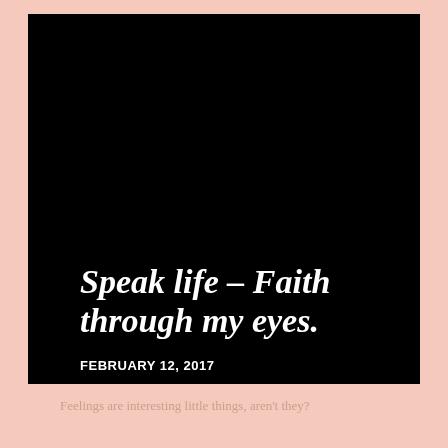[Figure (photo): Large black/dark background image area occupying upper portion of the page]
Speak life – Faith through my eyes.
FEBRUARY 12, 2017
Feelings are interesting little things, aren't they?